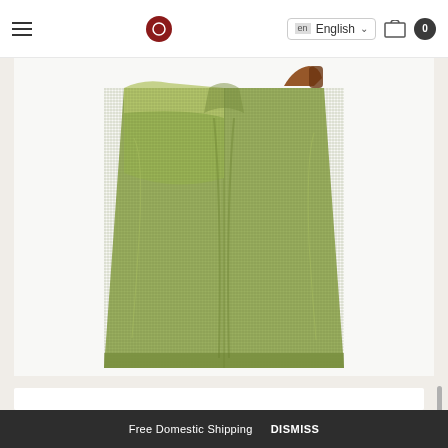English language selector, hamburger menu, logo, cart icon with badge 0
[Figure (photo): Green canvas tote bag photographed from below, showing the bottom and sides of the bag with brown leather handles visible at the top. The bag has a woven textile texture in light olive/army green color.]
Free Domestic Shipping   DISMISS